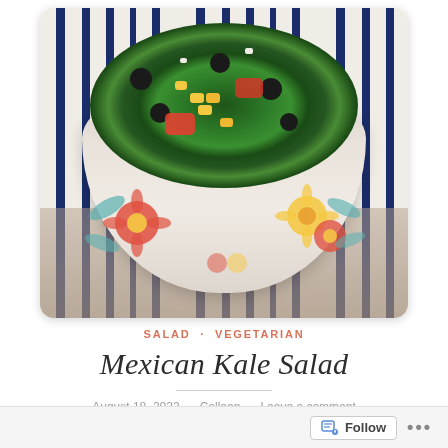[Figure (photo): A colorful kale salad with black beans, corn, and red peppers served in a white bowl with floral pattern, placed on a blue and white striped cloth]
SALAD · VEGETARIAN
Mexican Kale Salad
August 18, 2022 · Colleen · Leave a comment